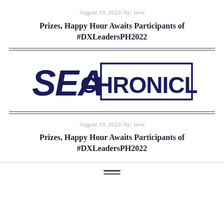August 19, 2022/ by: tove
Prizes, Happy Hour Awaits Participants of #DXLeadersPH2022
[Figure (logo): SEA CHRONICLE logo: 'SEA' in large bold dark navy italic text on the left, 'CHRONICLE' in large bold dark navy text inside a rectangular border on the right]
August 19, 2022/ by: tove
Prizes, Happy Hour Awaits Participants of #DXLeadersPH2022